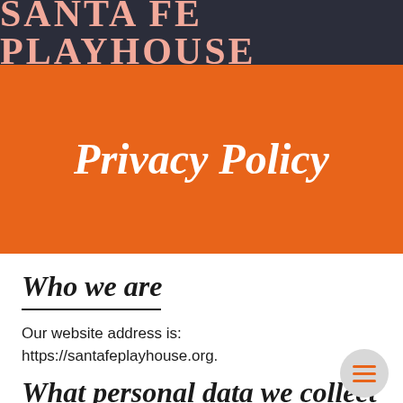SANTA FE PLAYHOUSE
Privacy Policy
Who we are
Our website address is: https://santafeplayhouse.org.
What personal data we collect